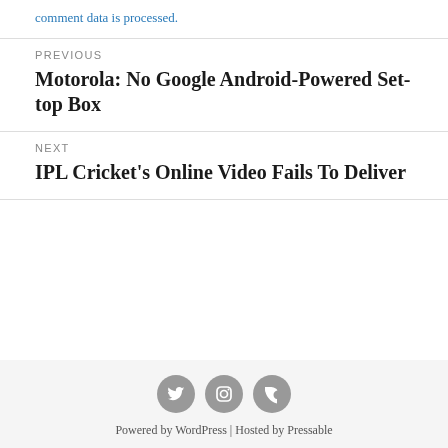comment data is processed.
PREVIOUS
Motorola: No Google Android-Powered Set-top Box
NEXT
IPL Cricket's Online Video Fails To Deliver
[Figure (other): Social media icons: Twitter, Instagram, RSS feed]
Powered by WordPress | Hosted by Pressable